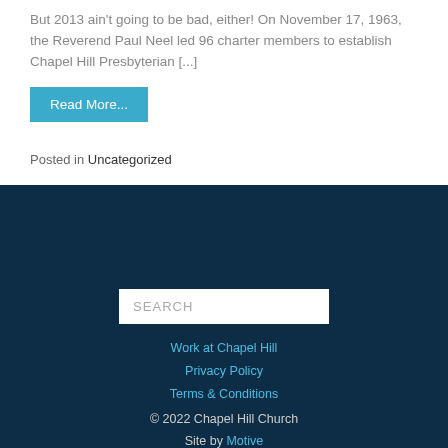But 2013 ain't going to be bad, either! On November 17, 1963, the Reverend Paul Neel led 96 charter members to establish Chapel Hill Presbyterian [...]
Read More...
Posted in Uncategorized
SEARCH | Work at Chapel Hill | Privacy Policy | Terms & Conditions | © 2022 Chapel Hill Church | Site by Motive